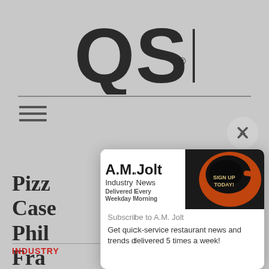[Figure (logo): QSR magazine logo in large bold black sans-serif letters with registered trademark symbol]
[Figure (infographic): A.M. Jolt newsletter advertisement popup modal showing coffee cup image, brand name, and subscription prompt]
Pizz... Case... Phil... Fran...
INDUSTRY
Subscribe to A.M. Jolt
Get quick-service restaurant news and trends delivered 5 times a week!